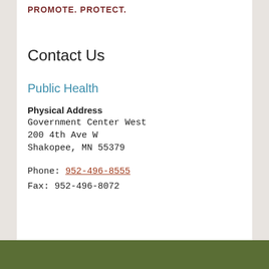PROMOTE. PROTECT.
Contact Us
Public Health
Physical Address
Government Center West
200 4th Ave W
Shakopee, MN 55379
Phone: 952-496-8555
Fax: 952-496-8072